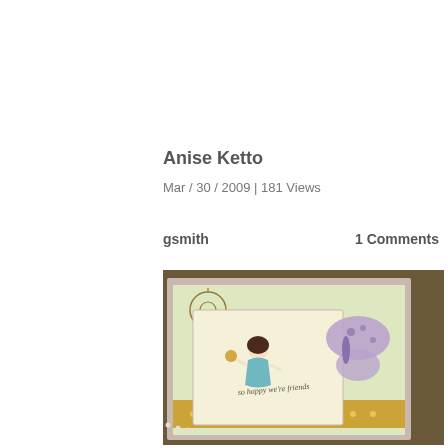Anise Ketto
Mar / 30 / 2009 | 181 Views
gsmith
1 Comments
[Figure (photo): A handmade greeting card featuring a fairy girl character holding a flower, a purple butterfly, floral background patterns, and the text 'so happy we're friends', decorated with ribbon and pearls.]